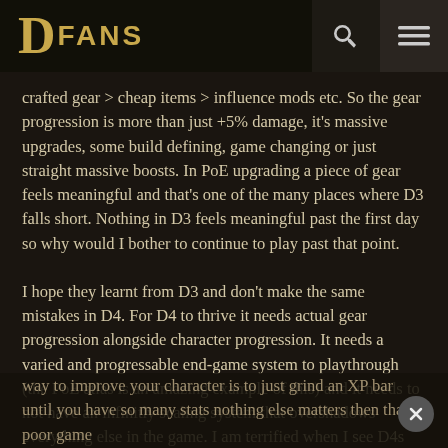DFANS
crafted gear > cheap items > influence mods etc. So the gear progression is more than just +5% damage, it's massive upgrades, some build defining, game changing or just straight massive boosts. In PoE upgrading a piece of gear feels meaningful and that's one of the many places where D3 falls short. Nothing in D3 feels meaningful past the first day so why would I bother to continue to play past that point.
I hope they learnt from D3 and don't make the same mistakes in D4. For D4 to thrive it needs actual gear progression alongside character progression. It needs a varied and progressable end-game system to playthrough (the PoE atlas is an amazing example of this) and it needs to not have an infinitly scaling system that overshadows everything else in the game. I am terrified when I see D4s paragon boards, if they are anything like D3s paragon then D4 will be dead on arrivial. If the most efficent way to improve your character is to just grind an XP bar until you have so many stats nothing else matters then that's poor game design.